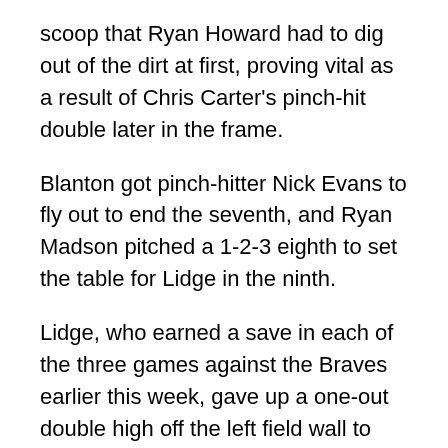scoop that Ryan Howard had to dig out of the dirt at first, proving vital as a result of Chris Carter's pinch-hit double later in the frame.
Blanton got pinch-hitter Nick Evans to fly out to end the seventh, and Ryan Madson pitched a 1-2-3 eighth to set the table for Lidge in the ninth.
Lidge, who earned a save in each of the three games against the Braves earlier this week, gave up a one-out double high off the left field wall to Davis. Pagan then flied out deep to center to move the runner up a base, and Josh Thole walked on four pitches.
Feliciano appeared to bounce back to Lidge for the final out of the game, but a late timeout call by third